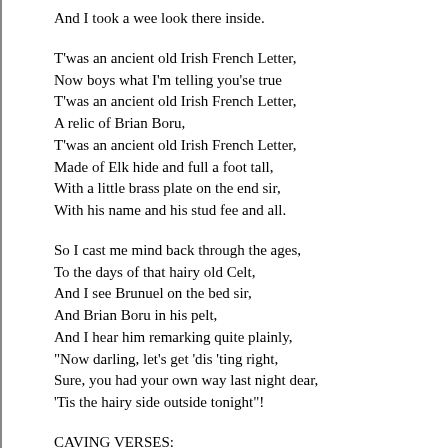And I took a wee look there inside.
T'was an ancient old Irish French Letter,
Now boys what I'm telling you'se true
T'was an ancient old Irish French Letter,
A relic of Brian Boru,
T'was an ancient old Irish French Letter,
Made of Elk hide and full a foot tall,
With a little brass plate on the end sir,
With his name and his stud fee and all.
So I cast me mind back through the ages,
To the days of that hairy old Celt,
And I see Brunuel on the bed sir,
And Brian Boru in his pelt,
And I hear him remarking quite plainly,
"Now darling, let's get 'dis 'ting right,
Sure, you had your own way last night dear,
'Tis the hairy side outside tonight"!
CAVING VERSES:
I was stood at the Hunters lodge bar sir,
With a bloke from the M.N.R.C.,
When a caver rushed by in a flap sir,